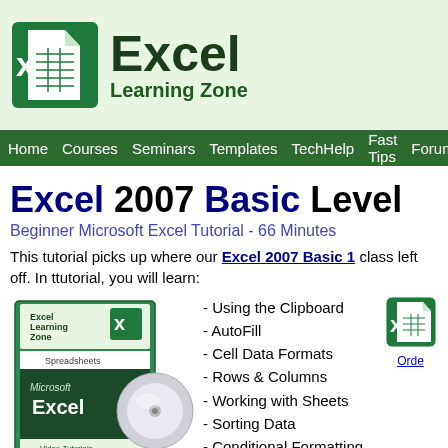Excel Learning Zone
Home  Courses  Seminars  Templates  TechHelp  Fast Tips  Forum
Excel 2007 Basic Level
Beginner Microsoft Excel Tutorial - 66 Minutes
This tutorial picks up where our Excel 2007 Basic 1 class left off. In this tutorial, you will learn:
[Figure (photo): DVD box cover for Excel Learning Zone Microsoft Excel Video Tutorials Basic level spreadsheets course, with a CD disc visible]
- Using the Clipboard
- AutoFill
- Cell Data Formats
- Rows & Columns
- Working with Sheets
- Sorting Data
- Conditional Formatting
- Find & Replace
[Figure (illustration): Small Excel icon thumbnail with Order link below it]